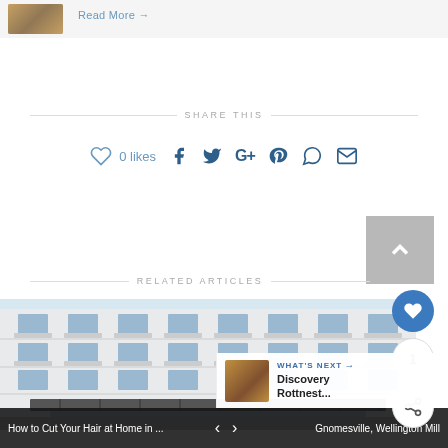[Figure (photo): Partial top image strip showing a thumbnail photo and a 'Read More →' link]
Read More →
SHARE THIS
♡ 0 likes
[Figure (infographic): Social sharing icons row: heart/likes, Facebook, Twitter, Google+, Pinterest, WhatsApp, Email]
RELATED ARTICLES
[Figure (photo): Hotel building exterior showing white facade with multiple floors and windows and a canopy entrance]
WHAT'S NEXT → Discovery Rottnest...
How to Cut Your Hair at Home in ...   <   >   Gnomesville, Wellington Mill